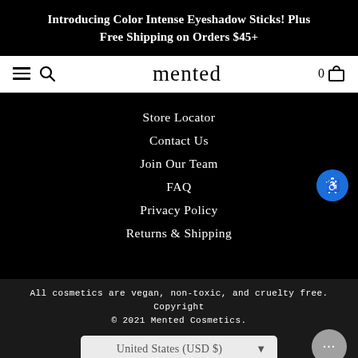Introducing Color Intense Eyeshadow Sticks! Plus Free Shipping on Orders $45+
[Figure (screenshot): Navigation bar with hamburger menu, search icon, 'mented' logo, and cart icon with 0 items]
Store Locator
Contact Us
Join Our Team
FAQ
Privacy Policy
Returns & Shipping
All cosmetics are vegan, non-toxic, and cruelty free. Copyright © 2021 Mented Cosmetics.
United States (USD $)